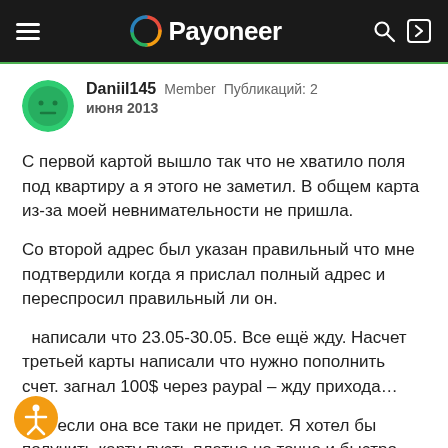Payoneer
Daniil145   Member   Публикаций: 2
июня 2013
С первой картой вышло так что не хватило поля под квартиру а я этого не заметил. В общем карта из-за моей невнимательности не пришла.
Со второй адрес был указан правильный что мне подтвердили когда я прислал полный адрес и переспросил правильный ли он.
написали что 23.05-30.05. Все ещё жду. Насчет третьей карты написали что нужно пополнить счет. загнал 100$ через paypal – жду прихода…
цем если она все таки не придет. Я хотел бы получить карту пусть платно но точно и быстро. Такое